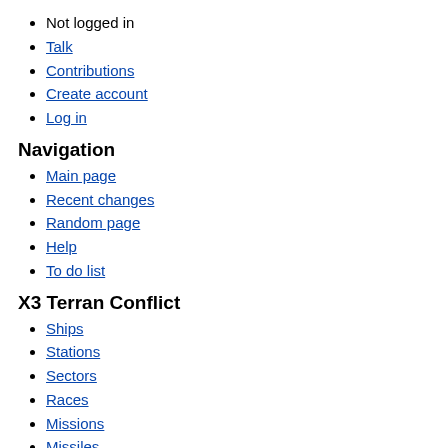Not logged in
Talk
Contributions
Create account
Log in
Navigation
Main page
Recent changes
Random page
Help
To do list
X3 Terran Conflict
Ships
Stations
Sectors
Races
Missions
Missiles
Weapons
Ranks